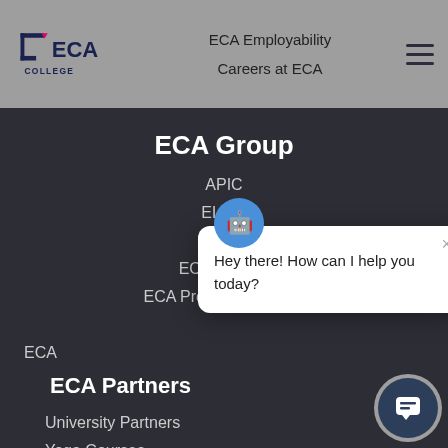[Figure (logo): ECA College logo with stylized square bracket and text 'ECA COLLEGE']
ECA Employability
Careers at ECA
ECA Group
APIC
ELSIS
EGI
ECA College
ECA Professional Year
ECA
[Figure (screenshot): Chat popup widget with avatar icon and text 'Hey there! How can I help you today?' with a close X button]
ECA Partners
University Partners
Yoga Courses